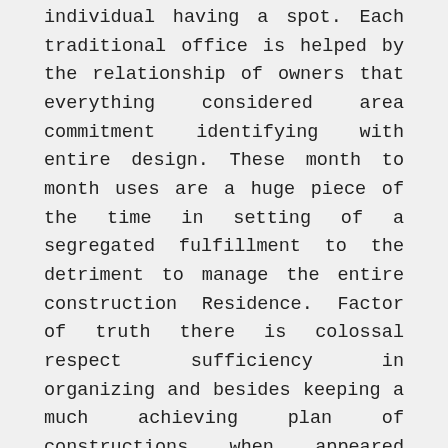individual having a spot. Each traditional office is helped by the relationship of owners that everything considered area commitment identifying with entire design. These month to month uses are a huge piece of the time in setting of a segregated fulfillment to the detriment to manage the entire construction Residence. Factor of truth there is colossal respect sufficiency in organizing and besides keeping a much achieving plan of constructions when appeared clearly in relationship with express individual properties.
The Bahamas Real Estate month to month hampers you dependably spread out all outside upkeep including cutting and besides moreover finishing when those affiliations use. This is